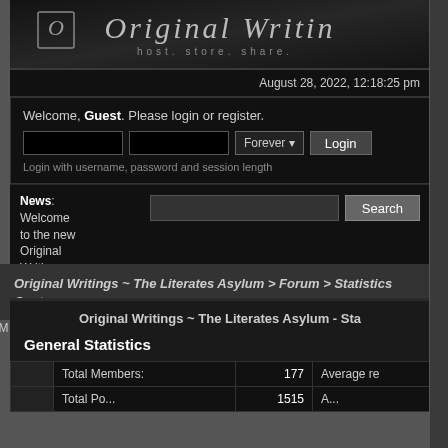[Figure (logo): Original Writing banner logo with gothic/fantasy font, dark textured background, subtitle 'host. store. share.']
August 28, 2022, 12:18:25 pm
Welcome, Guest. Please login or register.
Login with username, password and session length
News: Welcome to the new Original Writings, enjoy 😊.
HOME   HELP   STAFF LIST   CALENDAR   LOGIN   REGISTER
Original Writings ~ The Literates Asylum > Forum > Statistics Center
Original Writings ~ The Literates Asylum - Statistics Center
General Statistics
|  | Total Members: | 177 | Average re... |
| --- | --- | --- | --- |
|  | Total Po... | 1515 | ... |